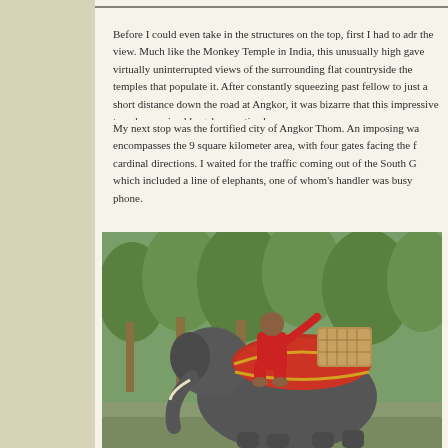[Figure (photo): Top strip of a photo at the very top of the page, partially visible]
Before I could even take in the structures on the top, first I had to adr the view. Much like the Monkey Temple in India, this unusually high gave virtually uninterrupted views of the surrounding flat countryside the temples that populate it. After constantly squeezing past fellow to just a short distance down the road at Angkor, it was bizarre that this impressive temple remained largely unnoticed.
My next stop was the fortified city of Angkor Thom. An imposing wa encompasses the 9 square kilometer area, with four gates facing the f cardinal directions. I waited for the traffic coming out of the South G which included a line of elephants, one of whom's handler was busy phone.
[Figure (photo): Photo of a person in red clothing sitting on top of an elephant with a red draped saddle, surrounded by green trees]